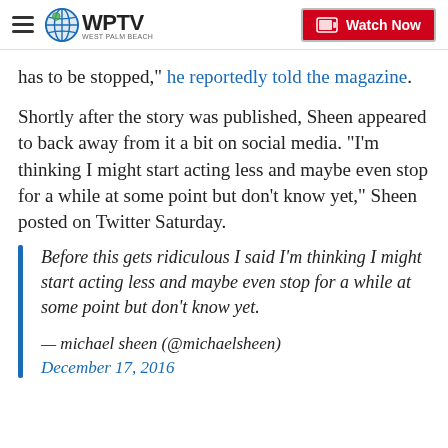WPTV — Watch Now
has to be stopped," he reportedly told the magazine.
Shortly after the story was published, Sheen appeared to back away from it a bit on social media. "I'm thinking I might start acting less and maybe even stop for a while at some point but don't know yet," Sheen posted on Twitter Saturday.
Before this gets ridiculous I said I'm thinking I might start acting less and maybe even stop for a while at some point but don't know yet.
— michael sheen (@michaelsheen)
December 17, 2016